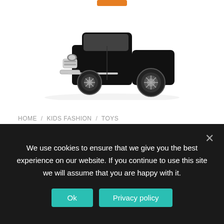[Figure (photo): Black classic car model (Barris Car) diecast toy, front view showing chrome details, photographed on white background]
HOME / KIDS FASHION / TOYS
The Barris Car Black Sparkle 1/18 Diecast Model Car by Autoworld AWSS120
USD
¢
We use cookies to ensure that we give you the best experience on our website. If you continue to use this site we will assume that you are happy with it.
Ok
Privacy policy